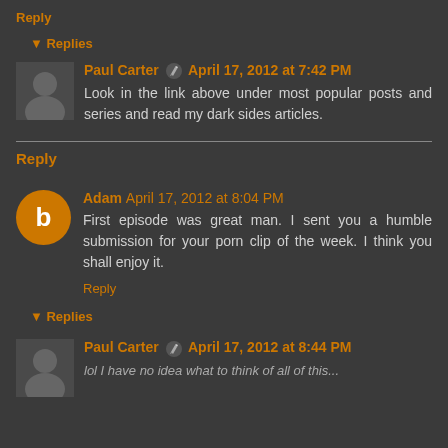Reply
▼ Replies
Paul Carter ✏ April 17, 2012 at 7:42 PM
Look in the link above under most popular posts and series and read my dark sides articles.
Reply
Adam April 17, 2012 at 8:04 PM
First episode was great man. I sent you a humble submission for your porn clip of the week. I think you shall enjoy it.
Reply
▼ Replies
Paul Carter ✏ April 17, 2012 at 8:44 PM